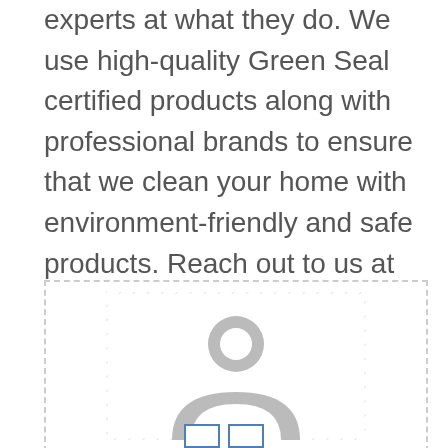experts at what they do. We use high-quality Green Seal certified products along with professional brands to ensure that we clean your home with environment-friendly and safe products. Reach out to us at (818) 248-2001 for any queries, or fill out our online contact form to get a free estimate today.
[Figure (illustration): Generic user avatar placeholder image with a hatched border background showing a gray silhouette of a person]